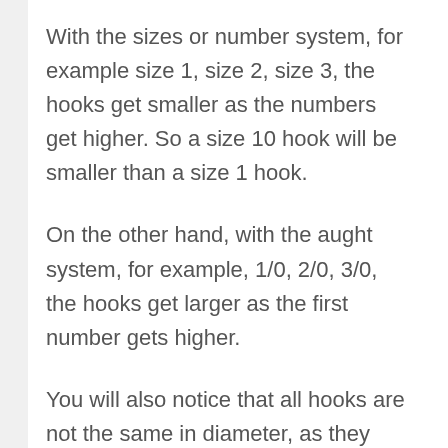With the sizes or number system, for example size 1, size 2, size 3, the hooks get smaller as the numbers get higher. So a size 10 hook will be smaller than a size 1 hook.
On the other hand, with the aught system, for example, 1/0, 2/0, 3/0, the hooks get larger as the first number gets higher.
You will also notice that all hooks are not the same in diameter, as they can range in thickness from fine to heavy. Hooks can also vary in size depending